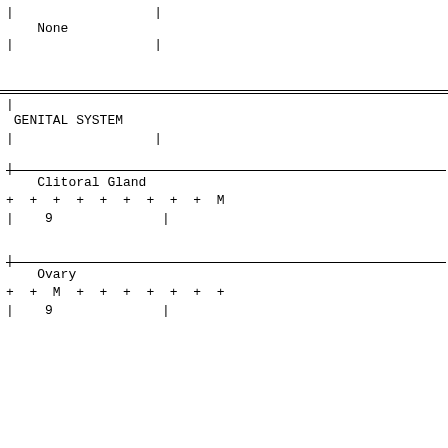|                  |
None                                                    |
|                  |
|
GENITAL SYSTEM                                             |
|                  |
|
Clitoral Gland                                          |
+  +  +  +  +  +  +  +  +  M
|    9              |
|
Ovary                                                   |
+  +  M  +  +  +  +  +  +  +
|    9              |